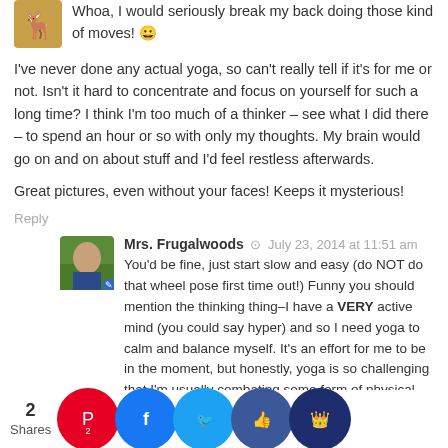Whoa, I would seriously break my back doing those kind of moves! 😀
I've never done any actual yoga, so can't really tell if it's for me or not. Isn't it hard to concentrate and focus on yourself for such a long time? I think I'm too much of a thinker – see what I did there – to spend an hour or so with only my thoughts. My brain would go on and on about stuff and I'd feel restless afterwards.
Great pictures, even without your faces! Keeps it mysterious!
Reply
Mrs. Frugalwoods · July 23, 2014 at 11:51 am
You'd be fine, just start slow and easy (do NOT do that wheel pose first time out!) Funny you should mention the thinking thing–I have a VERY active mind (you could say hyper) and so I need yoga to calm and balance myself. It's an effort for me to be in the moment, but honestly, yoga is so challenging that I'm usually combating some form of physical pain, which helps my mind block. It's meditative while also being extreme physical exercise. Do make it so it appears...